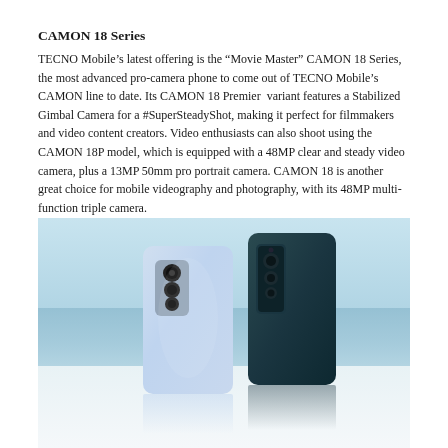CAMON 18 Series
TECNO Mobile’s latest offering is the “Movie Master” CAMON 18 Series, the most advanced pro-camera phone to come out of TECNO Mobile’s CAMON line to date. Its CAMON 18 Premier  variant features a Stabilized Gimbal Camera for a #SuperSteadyShot, making it perfect for filmmakers and video content creators. Video enthusiasts can also shoot using the CAMON 18P model, which is equipped with a 48MP clear and steady video camera, plus a 13MP 50mm pro portrait camera. CAMON 18 is another great choice for mobile videography and photography, with its 48MP multi-function triple camera.
[Figure (photo): Two TECNO CAMON 18 smartphones photographed from the back against a light blue sky and ocean background. The left phone is a light blue/silver color showing three rear cameras, and the right phone is dark teal/green showing its rear camera array. Both are standing upright on a reflective white surface.]